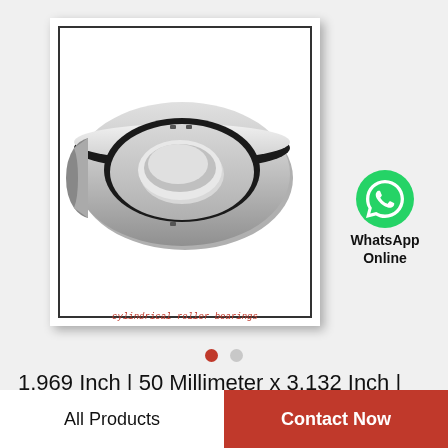[Figure (photo): Cylindrical roller bearing shown at an angle, silver and black metal ring with inner race visible, in a white bordered product image box with drop shadow]
cylindrical roller bearings
[Figure (logo): WhatsApp green circle logo icon with white phone handset]
WhatsApp Online
1.969 Inch | 50 Millimeter x 3.132 Inch | 79.545 Millimeter x 0.787 Inch | 20 Millimeter LINK…
All Products
Contact Now